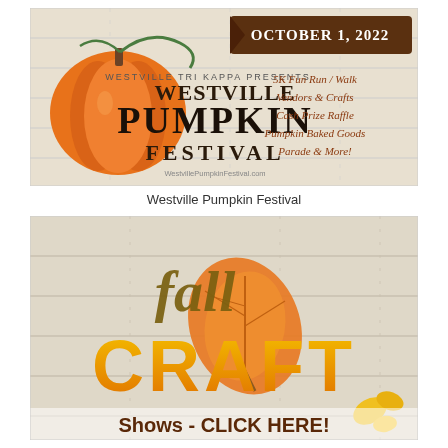[Figure (illustration): Westville Tri Kappa Presents Westville Pumpkin Festival poster. Features an orange pumpkin on a wood-plank background. Date: October 1, 2022. Activities: 5K Fun Run/Walk, Vendors & Crafts, Cash Prize Raffle, Pumpkin Baked Goods, Parade & More! Website: WestvillePumpkinFestival.com]
Westville Pumpkin Festival
[Figure (illustration): Fall Craft Shows - CLICK HERE! Banner with autumn leaves, wood plank background, large golden CRAFT lettering, and italic 'fall' script in dark olive/gold.]